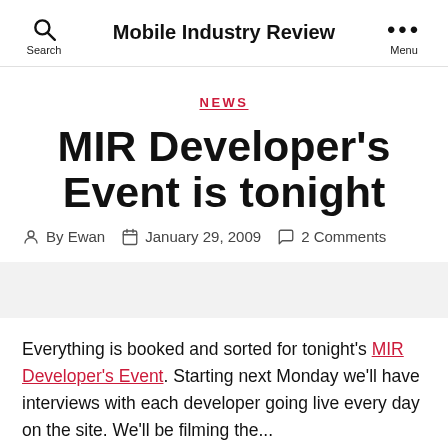Mobile Industry Review
NEWS
MIR Developer's Event is tonight
By Ewan   January 29, 2009   2 Comments
Everything is booked and sorted for tonight's MIR Developer's Event. Starting next Monday we'll have interviews with each developer going live every day on the site. We'll be filming the...